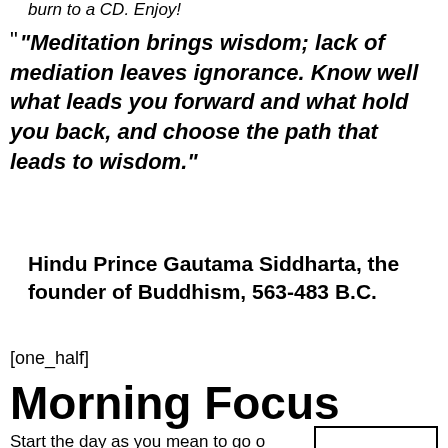burn to a CD. Enjoy!
"Meditation brings wisdom; lack of mediation leaves ignorance. Know well what leads you forward and what hold you back, and choose the path that leads to wisdom."
Hindu Prince Gautama Siddharta, the founder of Buddhism, 563-483 B.C.
[one_half]
Morning Focus
Start the day as you mean to go o...